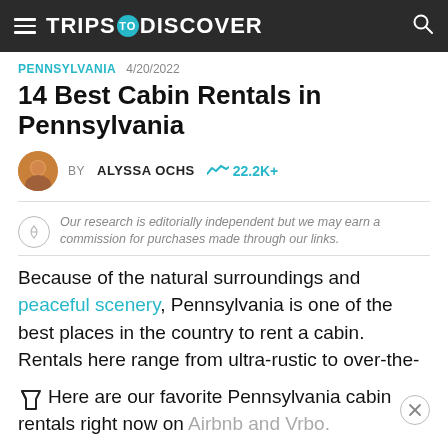TRIPS TO DISCOVER
PENNSYLVANIA · 4/20/2022
14 Best Cabin Rentals in Pennsylvania
BY ALYSSA OCHS  22.2K+
Our research is editorially independent but we may earn a commission for purchases made through our links.
Because of the natural surroundings and peaceful scenery, Pennsylvania is one of the best places in the country to rent a cabin. Rentals here range from ultra-rustic to over-the-top-luxurious, so there's really something for everyone in need of a getaway.
Here are our favorite Pennsylvania cabin rentals right now on Airbnb and Vrbo.